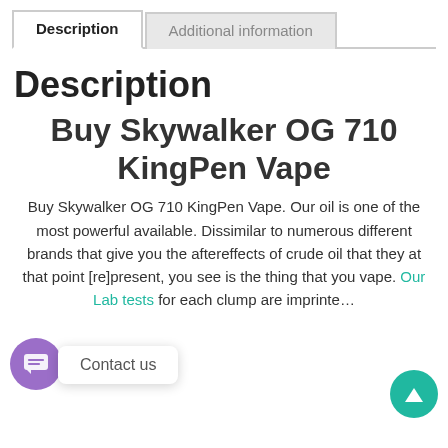Description | Additional information
Description
Buy Skywalker OG 710 KingPen Vape
Buy Skywalker OG 710 KingPen Vape. Our oil is one of the most powerful available. Dissimilar to numerous different brands that give you the aftereffects of crude oil that they at that point [re]present, you see is the thing that you vape. Our Lab tests for each clump are imprinted